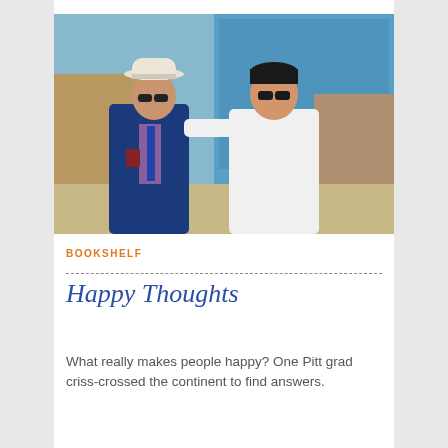[Figure (photo): Two men posing together outdoors near a bridge structure. An older man wearing a white fedora hat, sunglasses, and a blue blazer holds a red smartphone. A younger man in a white t-shirt and sunglasses stands beside him with his arm around the older man.]
BOOKSHELF
Happy Thoughts
What really makes people happy? One Pitt grad criss-crossed the continent to find answers.